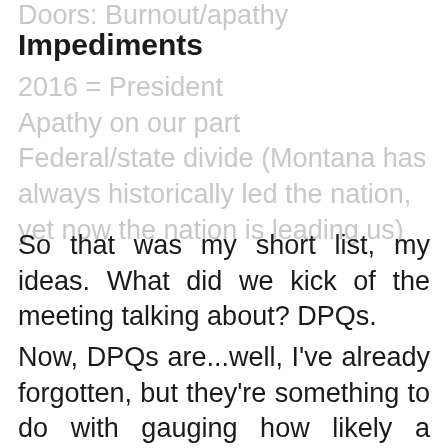Doors: Burnout/apathy
Impediments
2016 = President
Apathy on our part
Federal/state divide (Montana has always historically led the nation, yet now the nation is leading us)
So that was my short list, my ideas. What did we kick of the meeting talking about? DPQs.
Now, DPQs are...well, I’ve already forgotten, but they’re something to do with gauging how likely a candidate is going to do in a certain area.